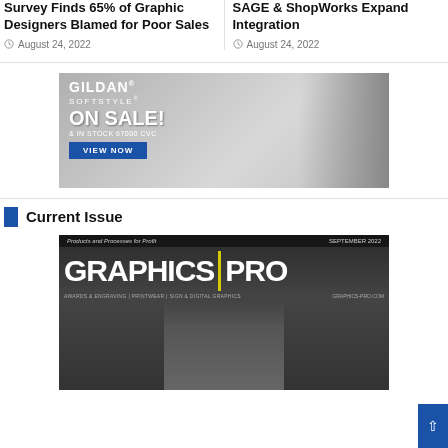Survey Finds 65% of Graphic Designers Blamed for Poor Sales
August 24, 2022
SAGE & ShopWorks Expand Integration
August 24, 2022
[Figure (photo): Gildan Softstyle advertisement banner showing 'ON SALE! & IN STOCK 67000 CVC' with a male model wearing a black t-shirt and a blue VIEW NOW button]
Current Issue
[Figure (photo): Graphics Pro magazine cover for September 2022 issue showing 'Products and Processes for Profit', with Awards & Engraving, Printwear, Sign & Digital Graphics categories listed, and a person on the cover]